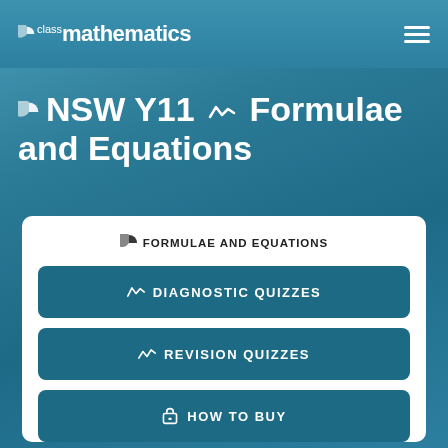class mathematics
NSW Y11 Formulae and Equations
FORMULAE AND EQUATIONS
DIAGNOSTIC QUIZZES
REVISION QUIZZES
HOW TO BUY